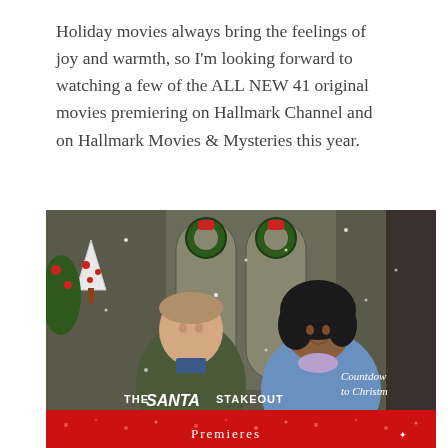Holiday movies always bring the feelings of joy and warmth, so I'm looking forward to watching a few of the ALL NEW 41 original movies premiering on Hallmark Channel and on Hallmark Movies & Mysteries this year.
[Figure (photo): A man and woman sitting together in front of a door decorated with Christmas wreaths, snowflakes falling. The man wears an olive puffer jacket, the woman wears a blue puffer jacket. Text at the bottom reads 'THE SANTA STAKEOUT' and 'Countdown to Christmas' and 'Premieres'.]